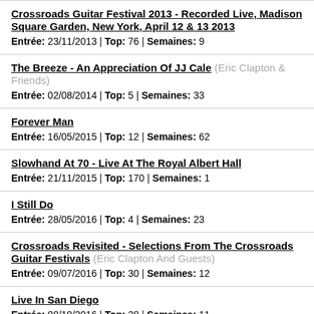Crossroads Guitar Festival 2013 - Recorded Live, Madison Square Garden, New York, April 12 & 13 2013
Entrée: 23/11/2013 | Top: 76 | Semaines: 9
The Breeze - An Appreciation Of JJ Cale (Eric Clapton & Friends)
Entrée: 02/08/2014 | Top: 5 | Semaines: 33
Forever Man
Entrée: 16/05/2015 | Top: 12 | Semaines: 62
Slowhand At 70 - Live At The Royal Albert Hall
Entrée: 21/11/2015 | Top: 170 | Semaines: 1
I Still Do
Entrée: 28/05/2016 | Top: 4 | Semaines: 23
Crossroads Revisited - Selections From The Crossroads Guitar Festivals (Eric Clapton And Guests)
Entrée: 09/07/2016 | Top: 30 | Semaines: 12
Live In San Diego
Entrée: 08/10/2016 | Top: 28 | Semaines: 11
Life In 12 Bars (Soundtrack / Eric Clapton)
Entrée: 02/02/2018 | Top: 75 | Semaines: 8